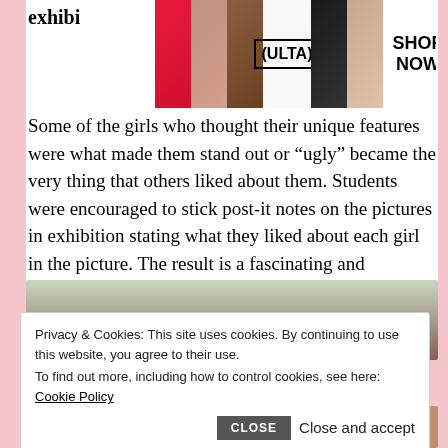[Figure (advertisement): Ulta Beauty advertisement banner with makeup imagery strips (lips, brush, eyes, Ulta logo, eyes, woman face) and SHOP NOW text]
exhibi
Some of the girls who thought their unique features were what made them stand out or “ugly” became the very thing that others liked about them. Students were encouraged to stick post-it notes on the pictures in exhibition stating what they liked about each girl in the picture. The result is a fascinating and subversive insight into the beloved selfie.
[Figure (advertisement): 22 Words advertisement: 37 ITEMS PEOPLE LOVE TO PURCHASE ON AMAZON with blue product bottles image and teal circular badge]
[Figure (photo): Partial photo of a person (brown hair, light background, partially obscured by cookie consent overlay)]
Privacy & Cookies: This site uses cookies. By continuing to use this website, you agree to their use.
To find out more, including how to control cookies, see here: Cookie Policy
CLOSE
Close and accept
[Figure (photo): Bottom strip showing partial photos]